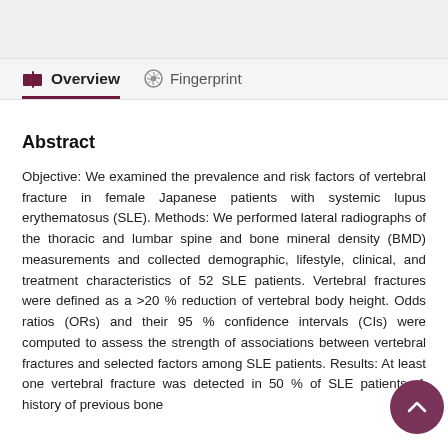Overview | Fingerprint
Abstract
Objective: We examined the prevalence and risk factors of vertebral fracture in female Japanese patients with systemic lupus erythematosus (SLE). Methods: We performed lateral radiographs of the thoracic and lumbar spine and bone mineral density (BMD) measurements and collected demographic, lifestyle, clinical, and treatment characteristics of 52 SLE patients. Vertebral fractures were defined as a >20 % reduction of vertebral body height. Odds ratios (ORs) and their 95 % confidence intervals (CIs) were computed to assess the strength of associations between vertebral fractures and selected factors among SLE patients. Results: At least one vertebral fracture was detected in 50 % of SLE patients. A history of previous bone